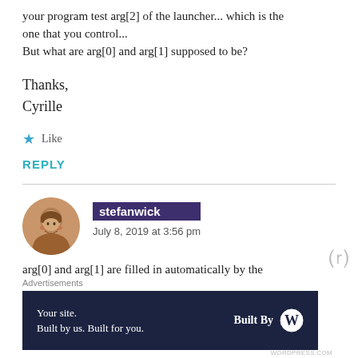your program test arg[2] of the launcher... which is the one that you control...
But what are arg[0] and arg[1] supposed to be?
Thanks,
Cyrille
★ Like
REPLY
stefanwick
July 8, 2019 at 3:56 pm
arg[0] and arg[1] are filled in automatically by the
Advertisements
Your site.
Built by us. Built for you.
Built By